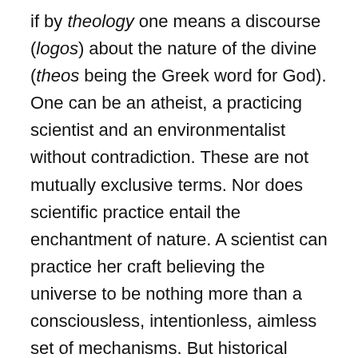if by theology one means a discourse (logos) about the nature of the divine (theos being the Greek word for God). One can be an atheist, a practicing scientist and an environmentalist without contradiction. These are not mutually exclusive terms. Nor does scientific practice entail the enchantment of nature. A scientist can practice her craft believing the universe to be nothing more than a consciousless, intentionless, aimless set of mechanisms. But historical semantics does not concern an obscurantist thinker like Santorum. He only needs to label environmentalism a theology because it is a belief system, and it, like every belief system, allegedly has a theological core and even a theodicy. That modern science and the practical disciplines based on it lack a concept of the divine does not matter here. Nor does it matter that belief systems are not also theologies. What matters for